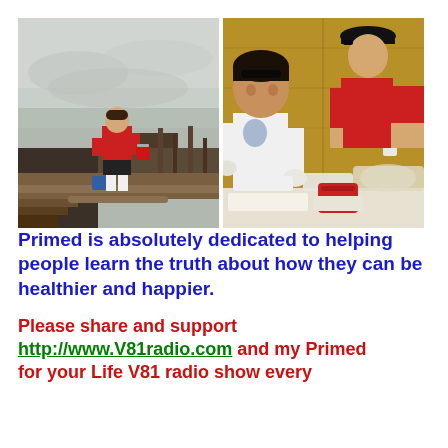[Figure (photo): Two side-by-side photos. Left: a person in a red shirt carrying a red bucket on a burned/smoky outdoor scene with a dock or wooden structure. Right: two people, one in a white t-shirt with gloves and one in a red shirt, working at a table with food/supplies indoors.]
Primed is absolutely dedicated to helping people learn the truth about how they can be healthier and happier.
Please share and support http://www.V81radio.com and my Primed for your Life V81 radio show every